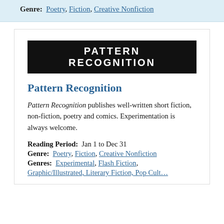Genre: Poetry, Fiction, Creative Nonfiction
[Figure (logo): Pattern Recognition logo — white condensed bold text on black background rectangle]
Pattern Recognition
Pattern Recognition publishes well-written short fiction, non-fiction, poetry and comics. Experimentation is always welcome.
Reading Period:  Jan 1 to Dec 31
Genre:  Poetry, Fiction, Creative Nonfiction
Genres:  Experimental, Flash Fiction,
Graphic/Illustrated, Literary Fiction, Pop Cult…